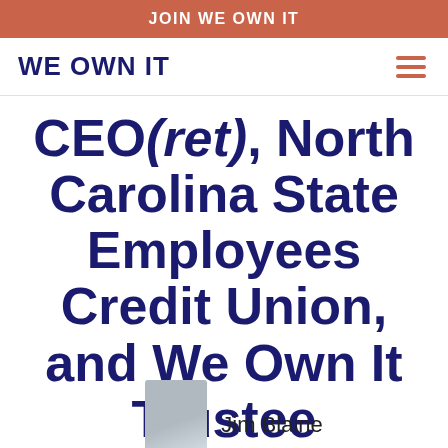JOIN WE OWN IT
WE OWN IT
CEO(ret), North Carolina State Employees Credit Union, and We Own It Trustee
Jim Blaine